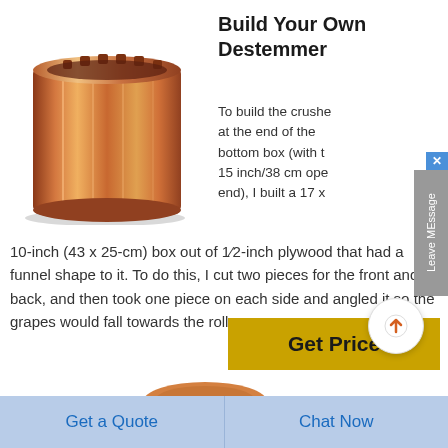[Figure (photo): Copper cylindrical crusher/destemmer drum with fluted top edge, shown on white background]
Build Your Own Destemmer
To build the crusher at the end of the bottom box (with the 15 inch/38 cm opening end), I built a 17 x 10-inch (43 x 25-cm) box out of 1/2-inch plywood that had a funnel shape to it. To do this, I cut two pieces for the front and back, and then took one piece on each side and angled it so the grapes would fall towards the rollers
[Figure (photo): Partial view of another copper destemmer component at bottom of page]